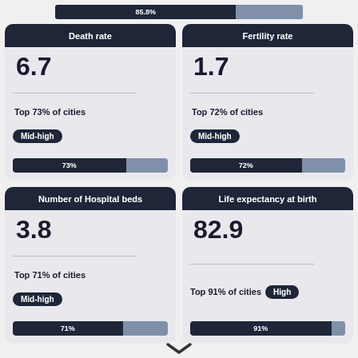[Figure (infographic): Top bar showing 85.8% fill with dark navy and grey remainder]
[Figure (infographic): Death rate card: value 6.7, Top 73% of cities, Mid-high badge, 73% bar]
[Figure (infographic): Fertility rate card: value 1.7, Top 72% of cities, Mid-high badge, 72% bar]
[Figure (infographic): Number of Hospital beds card: value 3.8, Top 71% of cities, Mid-high badge, 71% bar]
[Figure (infographic): Life expectancy at birth card: value 82.9, Top 91% of cities, High badge, 91% bar]
[Figure (infographic): Down chevron arrow at bottom center]